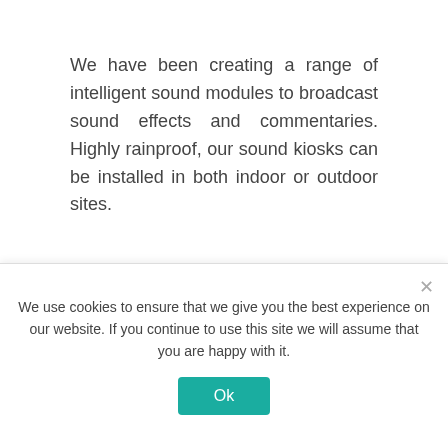We have been creating a range of intelligent sound modules to broadcast sound effects and commentaries. Highly rainproof, our sound kiosks can be installed in both indoor or outdoor sites.
REQUEST A QUOTE
PRODUCT BROCHURE
We use cookies to ensure that we give you the best experience on our website. If you continue to use this site we will assume that you are happy with it.
Ok